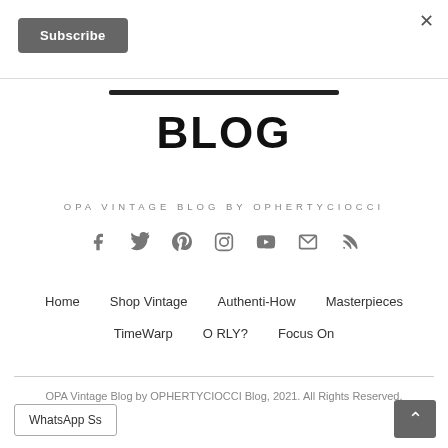×
Subscribe
BLOG
OPA VINTAGE BLOG BY OPHERTYCIOCCI
[Figure (infographic): Social media icons: Facebook, Twitter, Pinterest, Instagram, YouTube, Email, RSS]
Home   Shop Vintage   Authenti-How   Masterpieces
TimeWarp   O RLY?   Focus On
OPA Vintage Blog by OPHERTYCIOCCI Blog, 2021. All Rights Reserved.
WhatsApp Ss